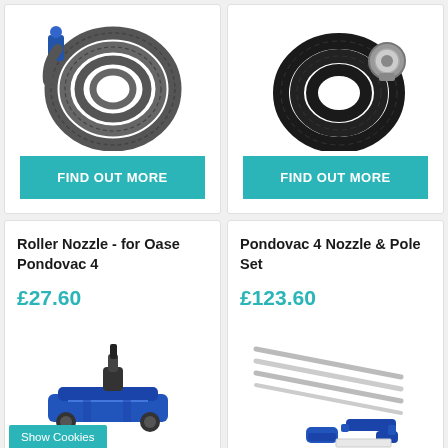[Figure (photo): Coiled grey corrugated pond vacuum hose with blue connector fitting]
FIND OUT MORE
[Figure (photo): Coiled black flat layflat discharge hose with metal cam-lock fitting]
FIND OUT MORE
Roller Nozzle - for Oase Pondovac 4
£27.60
[Figure (photo): Blue roller nozzle attachment for Oase Pondovac 4 pond vacuum]
Show Cookies
Pondovac 4 Nozzle & Pole Set
£123.60
[Figure (photo): Pondovac 4 nozzle and pole set showing extension poles and various blue nozzle attachments]